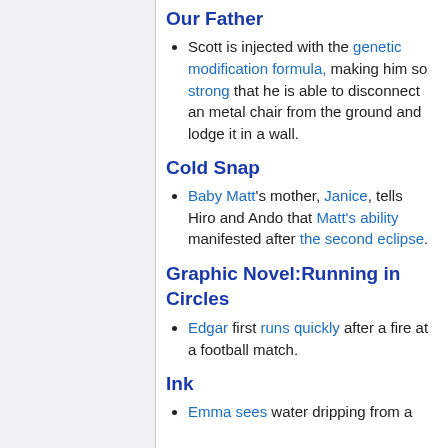Our Father
Scott is injected with the genetic modification formula, making him so strong that he is able to disconnect an metal chair from the ground and lodge it in a wall.
Cold Snap
Baby Matt's mother, Janice, tells Hiro and Ando that Matt's ability manifested after the second eclipse.
Graphic Novel:Running in Circles
Edgar first runs quickly after a fire at a football match.
Ink
Emma sees water dripping from a